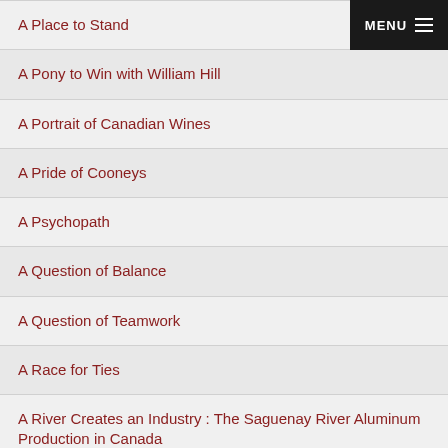MENU
A Place to Stand
A Pony to Win with William Hill
A Portrait of Canadian Wines
A Pride of Cooneys
A Psychopath
A Question of Balance
A Question of Teamwork
A Race for Ties
A River Creates an Industry : The Saguenay River Aluminum Production in Canada
A River of Earnings
A Romance of Two Hemispheres